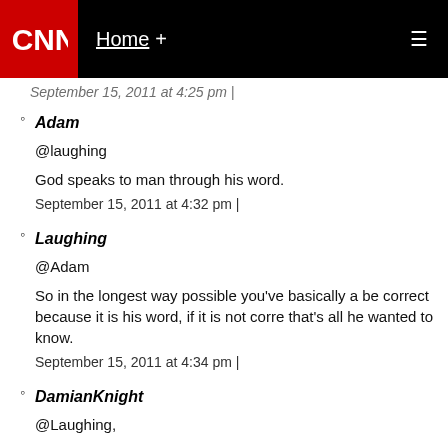CNN Home +
September 15, 2011 at 4:25 pm |
Adam
@laughing
God speaks to man through his word.
September 15, 2011 at 4:32 pm |
Laughing
@Adam
So in the longest way possible you've basically a be correct because it is his word, if it is not corre that's all he wanted to know.
September 15, 2011 at 4:34 pm |
DamianKnight
@Laughing,